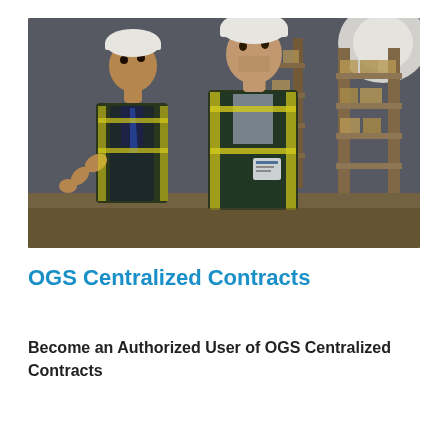[Figure (photo): Two workers in yellow safety vests and white hard hats in a warehouse with shelving and boxes, one gesturing while explaining something to the other]
OGS Centralized Contracts
Become an Authorized User of OGS Centralized Contracts